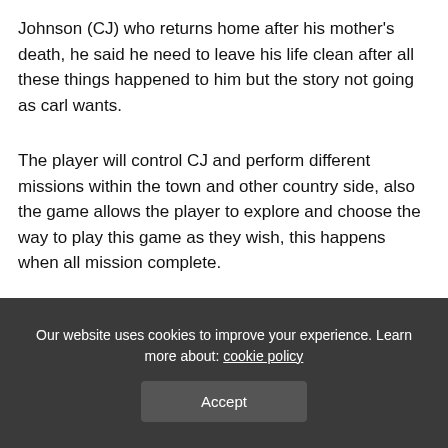Johnson (CJ) who returns home after his mother's death, he said he need to leave his life clean after all these things happened to him but the story not going as carl wants.
The player will control CJ and perform different missions within the town and other country side, also the game allows the player to explore and choose the way to play this game as they wish, this happens when all mission complete.
You can go anywhere and enjoy the game.
Our website uses cookies to improve your experience. Learn more about: cookie policy
Accept